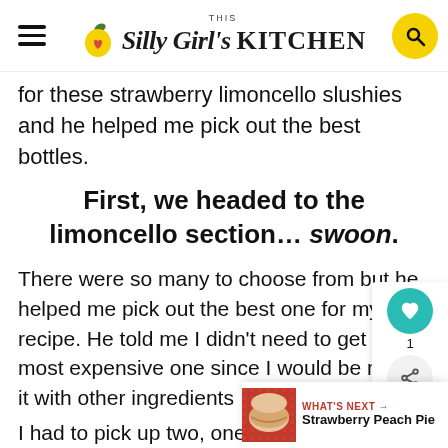This Silly Girl's KITCHEN
for these strawberry limoncello slushies and he helped me pick out the best bottles.
First, we headed to the limoncello section… swoon.
There were so many to choose from but he helped me pick out the best one for my recipe. He told me I didn't need to get the most expensive one since I would be mixing it with other ingredients
I had to pick up two, one for slushies (Bellini